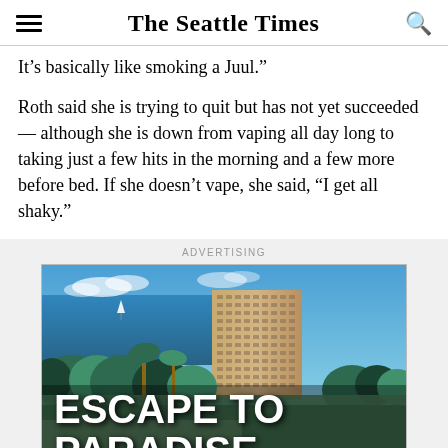The Seattle Times
It’s basically like smoking a Juul.”
Roth said she is trying to quit but has not yet succeeded — although she is down from vaping all day long to taking just a few hits in the morning and a few more before bed. If she doesn’t vape, she said, “I get all shaky.”
ADVERTISING
[Figure (photo): Advertisement for a Hawaiian resort hotel showing an aerial view of a large hotel building near the ocean with tropical greenery, overlaid with bold white text reading ESCAPE TO PARADISE.]